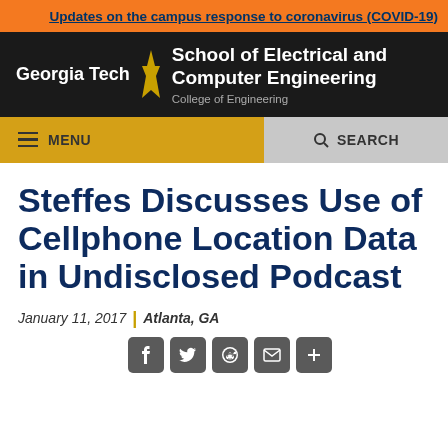Updates on the campus response to coronavirus (COVID-19)
[Figure (logo): Georgia Tech School of Electrical and Computer Engineering, College of Engineering logo/header with black background]
[Figure (screenshot): Navigation bar with MENU (gold background) and SEARCH (gray background) options]
Steffes Discusses Use of Cellphone Location Data in Undisclosed Podcast
January 11, 2017 | Atlanta, GA
[Figure (infographic): Social share icons: Facebook, Twitter, Reddit, Email, More]